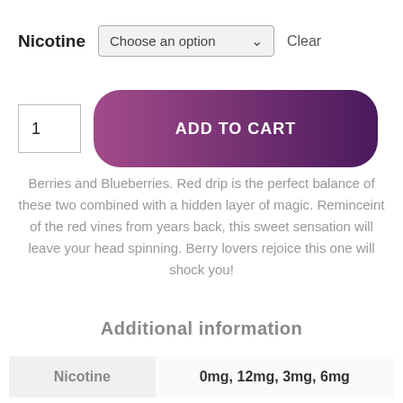Nicotine  Choose an option  Clear
1  ADD TO CART
Berries and Blueberries. Red drip is the perfect balance of these two combined with a hidden layer of magic. Reminceint of the red vines from years back, this sweet sensation will leave your head spinning. Berry lovers rejoice this one will shock you!
Additional information
| Nicotine |  |
| --- | --- |
| Nicotine | 0mg, 12mg, 3mg, 6mg |